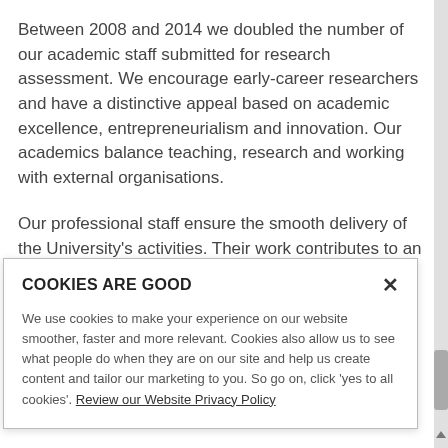Between 2008 and 2014 we doubled the number of our academic staff submitted for research assessment. We encourage early-career researchers and have a distinctive appeal based on academic excellence, entrepreneurialism and innovation. Our academics balance teaching, research and working with external organisations.
Our professional staff ensure the smooth delivery of the University's activities. Their work contributes to an outstanding student experience, supports research and underpins successful partnerships and collaborative
COOKIES ARE GOOD
We use cookies to make your experience on our website smoother, faster and more relevant. Cookies also allow us to see what people do when they are on our site and help us create content and tailor our marketing to you. So go on, click 'yes to all cookies'. Review our Website Privacy Policy